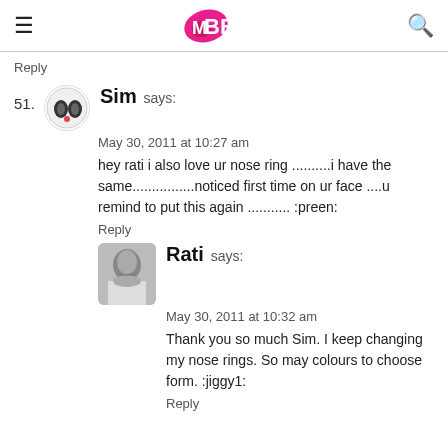IMBB
Reply
51. Sim says:
May 30, 2011 at 10:27 am
hey rati i also love ur nose ring ..........i have the same................noticed first time on ur face ....u remind to put this again ........... :preen:
Reply
Rati says:
May 30, 2011 at 10:32 am
Thank you so much Sim. I keep changing my nose rings. So may colours to choose form. :jiggy1:
Reply